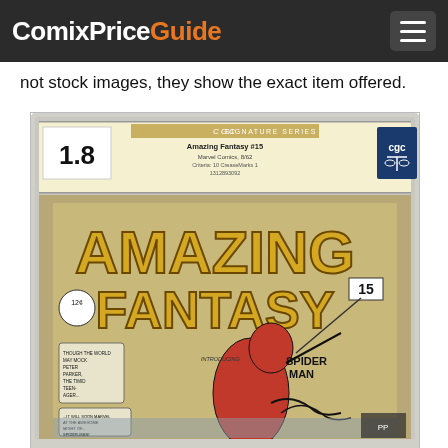ComixPriceGuide
not stock images, they show the exact item offered.
[Figure (photo): CGC graded Amazing Fantasy #15 (Marvel Comics, 8/62) with grade 1.8, CGC Signature Series label, showing the iconic Spider-Man first appearance cover with Spider-Man swinging and 'INTRODUCING SPIDER-MAN' text. The comic is encapsulated in a CGC holder.]